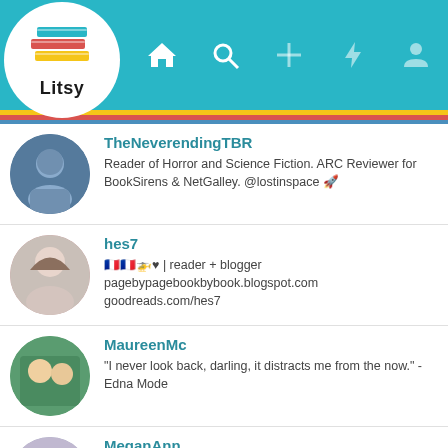[Figure (screenshot): Litsy app header with logo, navigation icons (home, search, add, activity, profile) on teal background with colored stripes (yellow, red, blue)]
TheNeverendingTBR
Reader of Horror and Science Fiction. ARC Reviewer for BookSirens & NetGalley. @lostinspace 🚀
hes7
🇫🇷🇫🇷🚁♥ | reader + blogger pagebypagebookbybook.blogspot.com goodreads.com/hes7
MaureenMc
"I never look back, darling, it distracts me from the now." - Edna Mode
MeganAnn
Reading is my escape. I am a creative, coffee loving boy mom. Goodreads: goodreads.com/user/show/13248394-megan-aign TheStoryGraph: MeganAnn